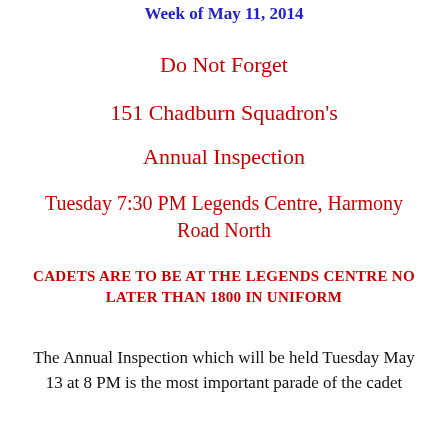Week of May 11, 2014
Do Not Forget
151 Chadburn Squadron's
Annual Inspection
Tuesday 7:30 PM Legends Centre, Harmony Road North
CADETS ARE TO BE AT THE LEGENDS CENTRE NO LATER THAN 1800 IN UNIFORM
The Annual Inspection which will be held Tuesday May 13 at 8 PM is the most important parade of the cadet